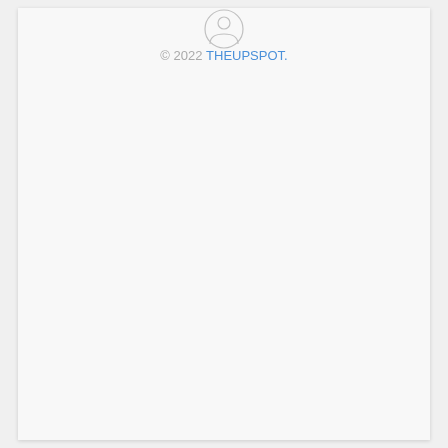[Figure (illustration): A small circular icon with a person/user silhouette outline, light gray color]
© 2022 THEUPSPOT.